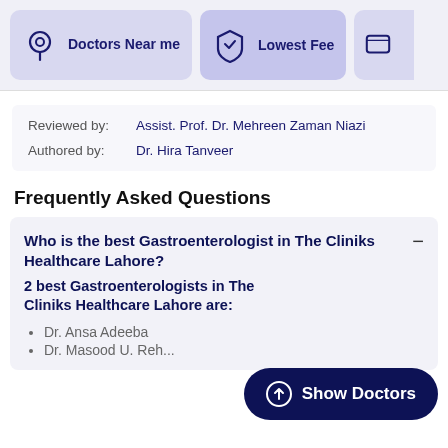[Figure (screenshot): Navigation bar with 'Doctors Near me' (location icon), 'Lowest Fee' (shield icon), and a third partially visible icon button]
Reviewed by: Assist. Prof. Dr. Mehreen Zaman Niazi
Authored by: Dr. Hira Tanveer
Frequently Asked Questions
Who is the best Gastroenterologist in The Cliniks Healthcare Lahore?
2 best Gastroenterologists in The Cliniks Healthcare Lahore are:
Dr. Ansa Adeeba
Dr. Masood ...